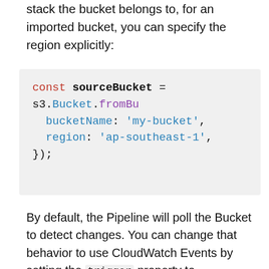stack the bucket belongs to, for an imported bucket, you can specify the region explicitly:
const sourceBucket = s3.Bucket.fromBu
  bucketName: 'my-bucket',
  region: 'ap-southeast-1',
});
By default, the Pipeline will poll the Bucket to detect changes. You can change that behavior to use CloudWatch Events by setting the trigger property to S3Trigger.EVENTS (it's S3Trigger.POLL by default). If you do that, make sure the source Bucket is part of an AWS CloudTrail Trail - otherwise, the CloudWatch Events will not be emitted, and your Pipeline will not react to changes.